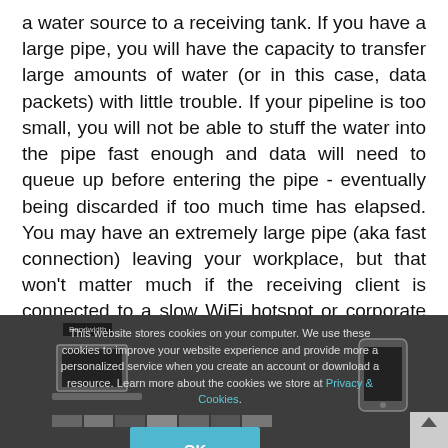a water source to a receiving tank. If you have a large pipe, you will have the capacity to transfer large amounts of water (or in this case, data packets) with little trouble. If your pipeline is too small, you will not be able to stuff the water into the pipe fast enough and data will need to queue up before entering the pipe - eventually being discarded if too much time has elapsed. You may have an extremely large pipe (aka fast connection) leaving your workplace, but that won't matter much if the receiving client is connected to a slow WiFi hotspot or corporate VPN with less than an Mbps of bandwidth available.
[Figure (screenshot): Dark background section showing a bandwidth diagram with laptop and phone icons, overlaid by a cookie consent popup reading 'This website stores cookies on your computer. We use these cookies to improve your website experience and provide more a personalized service when you create an account or download a resource. Learn more about the cookies we store at Privacy & Cookies.' with an OK button.]
That is where bandwidth adaptation comes in. The goal of bandwidth adaptation is to limit packet loss